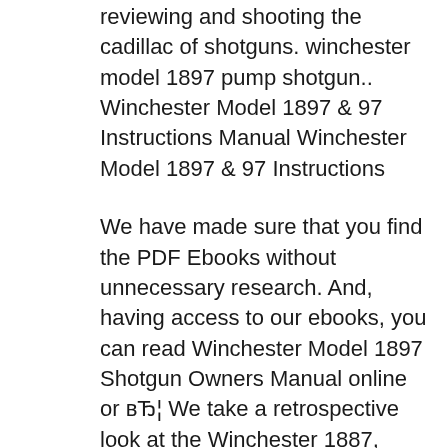reviewing and shooting the cadillac of shotguns. winchester model 1897 pump shotgun.. Winchester Model 1897 & 97 Instructions Manual Winchester Model 1897 & 97 Instructions
We have made sure that you find the PDF Ebooks without unnecessary research. And, having access to our ebooks, you can read Winchester Model 1897 Shotgun Owners Manual online or вЂ¦ We take a retrospective look at the Winchester 1887, originally made popular by John Browning, and compare it to a modern take on the classic, the CAI PW87.
tristar arms pistol/shotgun owner's